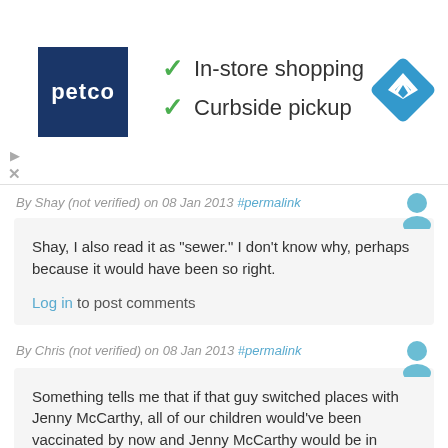[Figure (logo): Petco logo (dark blue square with white 'petco' text) with checkmarks listing 'In-store shopping' and 'Curbside pickup', and a blue navigation diamond icon on the right. Ad close/play controls on the left.]
By Shay (not verified) on 08 Jan 2013 #permalink
Shay, I also read it as "sewer." I don't know why, perhaps because it would have been so right.
Log in to post comments
By Chris (not verified) on 08 Jan 2013 #permalink
Something tells me that if that guy switched places with Jenny McCarthy, all of our children would've been vaccinated by now and Jenny McCarthy would be in management at a business